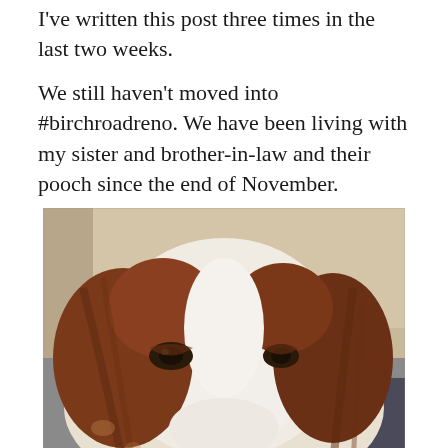I've written this post three times in the last two weeks.
We still haven't moved into #birchroadreno. We have been living with my sister and brother-in-law and their pooch since the end of November.
[Figure (photo): Close-up photo of a brown and white spaniel dog resting its head, lying on what appears to be a grey sofa or cushion, with a beige/tan couch back visible behind it.]